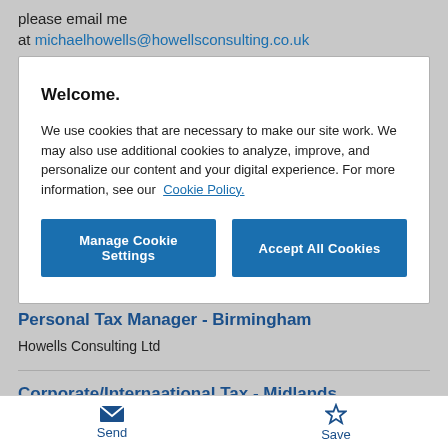please email me at michaelhowells@howellsconsulting.co.uk
Welcome.

We use cookies that are necessary to make our site work. We may also use additional cookies to analyze, improve, and personalize our content and your digital experience. For more information, see our Cookie Policy.
Personal Tax Manager - Birmingham
Howells Consulting Ltd
Corporate/Internaational Tax - Midlands
Send   Save